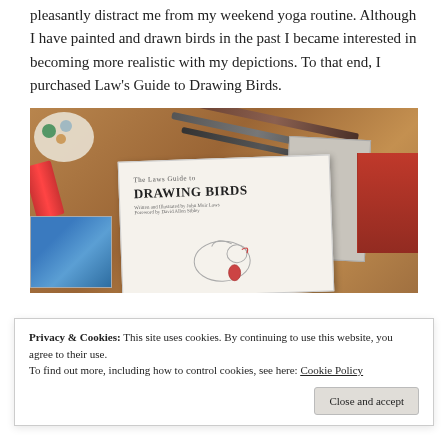pleasantly distract me from my weekend yoga routine. Although I have painted and drawn birds in the past I became interested in becoming more realistic with my depictions. To that end, I purchased Law's Guide to Drawing Birds.
[Figure (photo): Photo of a wooden table with The Laws Guide to Drawing Birds book, pencils, a paint palette, paint tubes, a bird illustration card showing a fish/bird in water, a gray card, and a partial cardinal illustration.]
Privacy & Cookies: This site uses cookies. By continuing to use this website, you agree to their use.
To find out more, including how to control cookies, see here: Cookie Policy